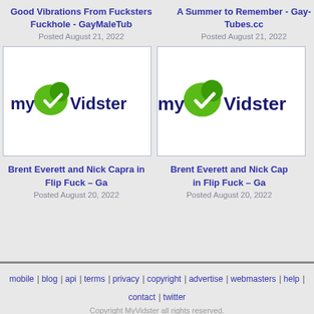Good Vibrations From Fucksters Fuckhole - GayMaleTub
Posted August 21, 2022
A Summer to Remember - Gay-Tubes.cc
Posted August 21, 2022
[Figure (logo): myVidster logo — green leaf-like shape with white checkmark, text 'myVidster' in dark blue]
[Figure (logo): myVidster logo — green leaf-like shape with white checkmark, text 'myVidster' in dark blue (cropped right side)]
Brent Everett and Nick Capra in Flip Fuck – Ga
Posted August 20, 2022
Brent Everett and Nick Capra in Flip Fuck – Ga
Posted August 20, 2022
mobile | blog | api | terms | privacy | copyright | advertise | webmasters | help | contact | twitter
Copyright MyVidster all rights reserved.